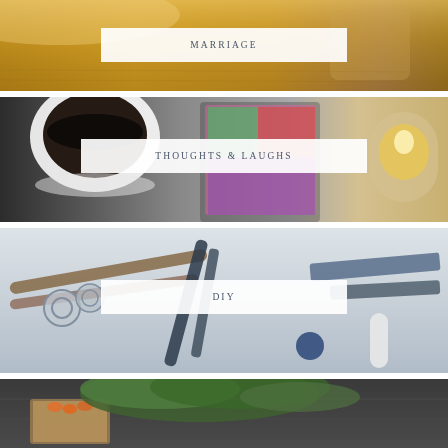[Figure (photo): Outdoor golden-hour scene with a woman and baby in a basket in a field]
MARRIAGE
[Figure (photo): Coffee cup, colorful phone case, candle on white table — lifestyle flat lay]
THOUGHTS & LAUGHS
[Figure (photo): Craft tools, scissors, pens and brushes on a white surface — DIY supplies]
DIY
[Figure (photo): Wooden crate with carrots and herbs on a dark wooden table — gardening/food]